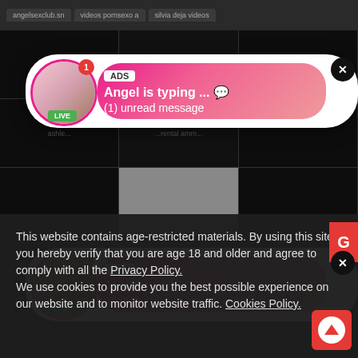angelsexclub.sn  videos pornsexo a  silvia dela videos
[Figure (screenshot): Ad popup 1: Avatar with LIVE badge and notification badge, gradient pink background. ADS label, text 'Angel is typing ... (1) unread message', close X button]
[Figure (screenshot): Ad popup 2: Avatar with LIVE badge and notification badge, gradient pink background. ADS label, text 'Jeniffer 2000 (00:12)', close X button]
This website contains age-restricted materials. By using this site, you hereby verify that you are age 18 and older and agree to comply with all the Privacy Policy.
We use cookies to provide you the best possible experience on our website and to monitor website traffic. Cookies Policy.